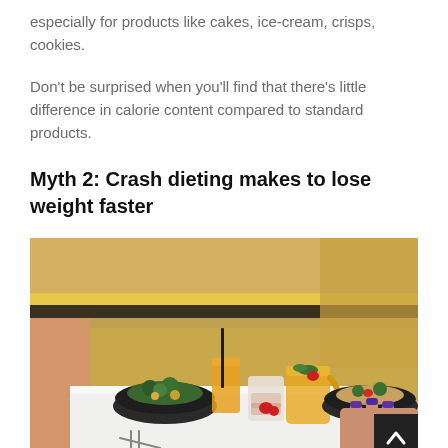especially for products like cakes, ice-cream, crisps, cookies.
Don't be surprised when you'll find that there's little difference in calorie content compared to standard products.
Myth 2: Crash dieting makes to lose weight faster
[Figure (photo): Photo of a restaurant table with two bowls of salad, a glass of orange juice with a straw, a glass dessert with strawberries, and a pitcher of water with lemon and mint. Two people's hands are visible at the edges of the table. There is a dark scroll-to-top button with a chevron in the bottom right corner.]